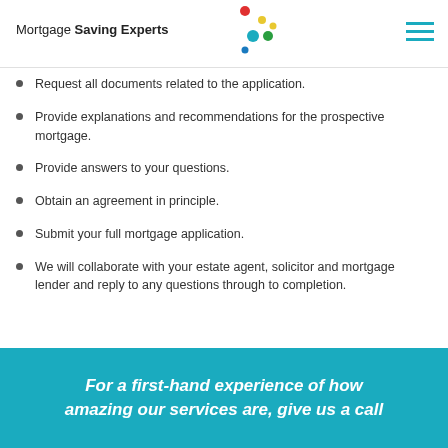Mortgage Saving Experts
Request all documents related to the application.
Provide explanations and recommendations for the prospective mortgage.
Provide answers to your questions.
Obtain an agreement in principle.
Submit your full mortgage application.
We will collaborate with your estate agent, solicitor and mortgage lender and reply to any questions through to completion.
For a first-hand experience of how amazing our services are, give us a call